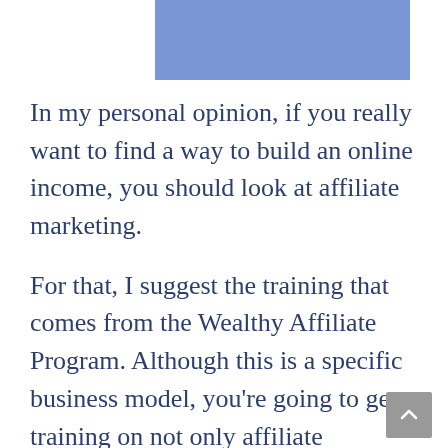[Figure (other): Blue rectangle banner image at top of page]
In my personal opinion, if you really want to find a way to build an online income, you should look at affiliate marketing.
For that, I suggest the training that comes from the Wealthy Affiliate Program. Although this is a specific business model, you’re going to get training on not only affiliate marketing but Internet marketing as